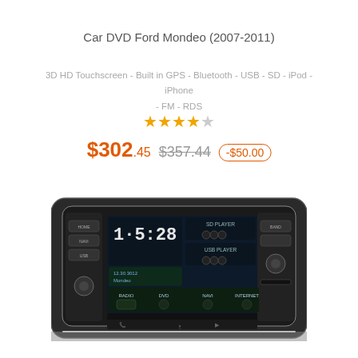Car DVD Ford Mondeo (2007-2011)
3D HD Touchscreen - Built in GPS - Bluetooth - USB - SD - iPod - iPhone - FM - RDS 
★★★★☆ (4 out of 5 stars)
$302.45  $357.44  -$50.00
[Figure (photo): Car DVD player unit for Ford Mondeo showing touchscreen interface with time display 15:28, radio, DVD, NAVI, INTERNET buttons]